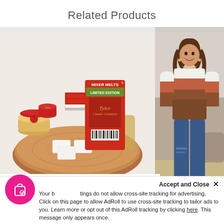Related Products
[Figure (photo): Photo of Mixer Melts Limited Edition wax melts by Tylor Candle Company displayed on a wooden slice with white wax cubes and decorative candles in background]
[Figure (photo): Photo of a young woman wearing a striped colorblock sweater and ripped jeans, smiling in a home setting]
Accept and Close ✕
Your browser settings do not allow cross-site tracking for advertising. Click on this page to allow AdRoll to use cross-site tracking to tailor ads to you. Learn more or opt out of this AdRoll tracking by clicking here. This message only appears once.